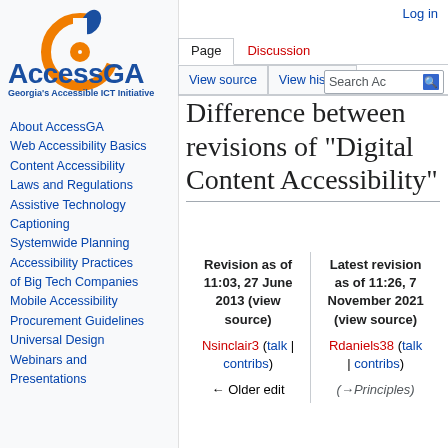[Figure (logo): AccessGA logo with orange power-button peach icon and blue text reading AccessGA, tagline: Georgia's Accessible ICT Initiative]
About AccessGA
Web Accessibility Basics
Content Accessibility
Laws and Regulations
Assistive Technology
Captioning
Systemwide Planning
Accessibility Practices of Big Tech Companies
Mobile Accessibility
Procurement Guidelines
Universal Design
Webinars and Presentations
Log in
Difference between revisions of "Digital Content Accessibility"
| Revision as of 11:03, 27 June 2013 (view source) | Latest revision as of 11:26, 7 November 2021 (view source) |
| --- | --- |
| Nsinclair3 (talk | contribs) | Rdaniels38 (talk | contribs) |
| ← Older edit | (→Principles) |